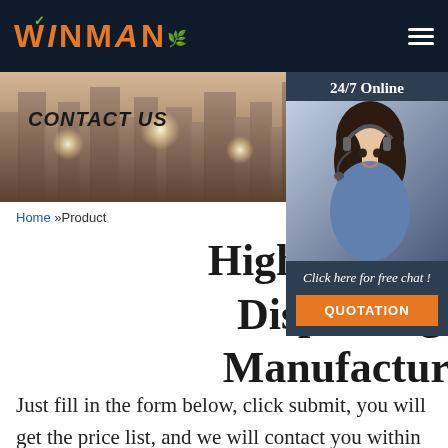[Figure (logo): WINMAN company logo in orange bold text with green checkmark and leaf, on dark navy background]
[Figure (photo): Contact us banner with city skyline background and decorative light circles]
[Figure (photo): 24/7 Online chat widget with female customer service representative wearing headset, with Click here for free chat and QUOTATION button]
Home »Product
High-Performance C Dispensing Machi Manufacturers Bra
Just fill in the form below, click submit, you will get the price list, and we will contact you within one working day. Please also feel free to